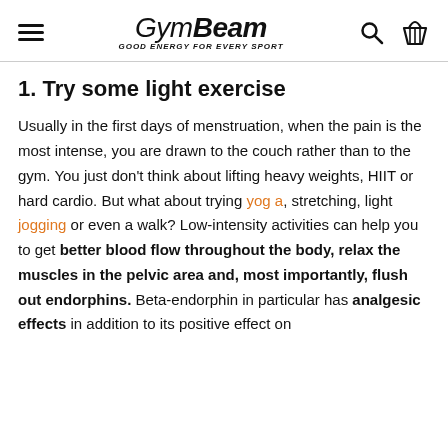GymBeam — GOOD ENERGY FOR EVERY SPORT
1. Try some light exercise
Usually in the first days of menstruation, when the pain is the most intense, you are drawn to the couch rather than to the gym. You just don't think about lifting heavy weights, HIIT or hard cardio. But what about trying yoga, stretching, light jogging or even a walk? Low-intensity activities can help you to get better blood flow throughout the body, relax the muscles in the pelvic area and, most importantly, flush out endorphins. Beta-endorphin in particular has analgesic effects in addition to its positive effect on